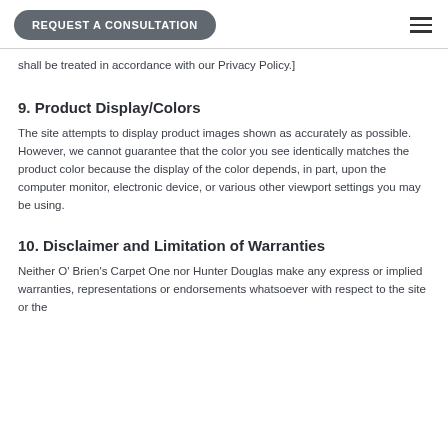REQUEST A CONSULTATION
shall be treated in accordance with our Privacy Policy.]
9. Product Display/Colors
The site attempts to display product images shown as accurately as possible. However, we cannot guarantee that the color you see identically matches the product color because the display of the color depends, in part, upon the computer monitor, electronic device, or various other viewport settings you may be using.
10. Disclaimer and Limitation of Warranties
Neither O' Brien's Carpet One nor Hunter Douglas make any express or implied warranties, representations or endorsements whatsoever with respect to the site or the